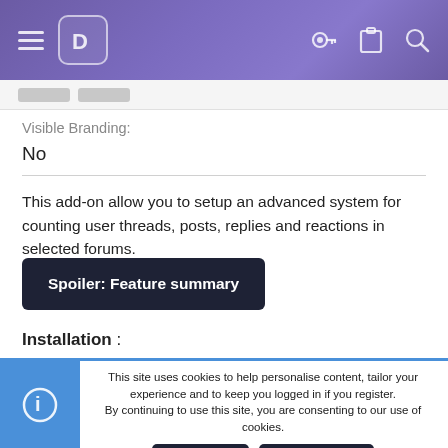[Figure (screenshot): Purple navigation bar with hamburger menu, D logo, key icon, clipboard icon, and search icon]
Visible Branding:
No
This add-on allow you to setup an advanced system for counting user threads, posts, replies and reactions in selected forums.
Spoiler: Feature summary
Installation :
This site uses cookies to help personalise content, tailor your experience and to keep you logged in if you register.
By continuing to use this site, you are consenting to our use of cookies.